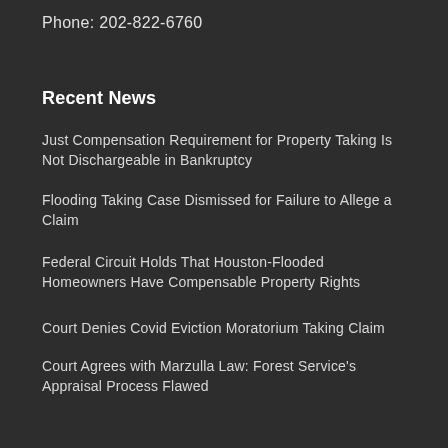Phone: 202-822-6760
Recent News
Just Compensation Requirement for Property Taking Is Not Dischargeable in Bankruptcy
Flooding Taking Case Dismissed for Failure to Allege a Claim
Federal Circuit Holds That Houston-Flooded Homeowners Have Compensable Property Rights
Court Denies Covid Eviction Moratorium Taking Claim
Court Agrees with Marzulla Law: Forest Service's Appraisal Process Flawed